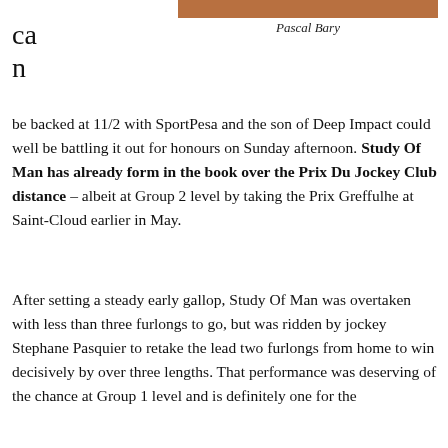[Figure (photo): Partial photo visible at top of page, cropped]
Pascal Bary
ca
n
be backed at 11/2 with SportPesa and the son of Deep Impact could well be battling it out for honours on Sunday afternoon. Study Of Man has already form in the book over the Prix Du Jockey Club distance – albeit at Group 2 level by taking the Prix Greffulhe at Saint-Cloud earlier in May.
After setting a steady early gallop, Study Of Man was overtaken with less than three furlongs to go, but was ridden by jockey Stephane Pasquier to retake the lead two furlongs from home to win decisively by over three lengths. That performance was deserving of the chance at Group 1 level and is definitely one for the